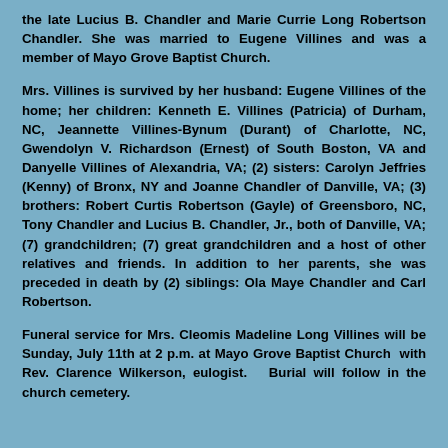the late Lucius B. Chandler and Marie Currie Long Robertson Chandler. She was married to Eugene Villines and was a member of Mayo Grove Baptist Church.
Mrs. Villines is survived by her husband: Eugene Villines of the home; her children: Kenneth E. Villines (Patricia) of Durham, NC, Jeannette Villines-Bynum (Durant) of Charlotte, NC, Gwendolyn V. Richardson (Ernest) of South Boston, VA and Danyelle Villines of Alexandria, VA; (2) sisters: Carolyn Jeffries (Kenny) of Bronx, NY and Joanne Chandler of Danville, VA; (3) brothers: Robert Curtis Robertson (Gayle) of Greensboro, NC, Tony Chandler and Lucius B. Chandler, Jr., both of Danville, VA; (7) grandchildren; (7) great grandchildren and a host of other relatives and friends. In addition to her parents, she was preceded in death by (2) siblings: Ola Maye Chandler and Carl Robertson.
Funeral service for Mrs. Cleomis Madeline Long Villines will be Sunday, July 11th at 2 p.m. at Mayo Grove Baptist Church with Rev. Clarence Wilkerson, eulogist. Burial will follow in the church cemetery.